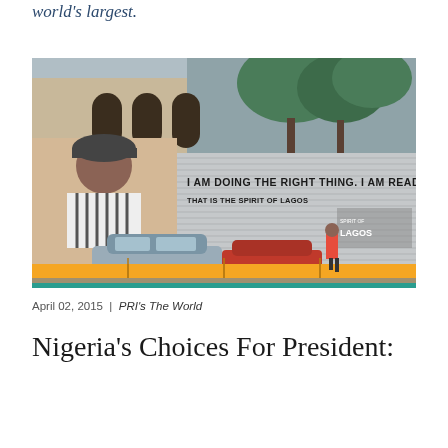world's largest.
[Figure (photo): A street scene in Lagos, Nigeria. A large billboard/hoarding reads 'I AM DOING THE RIGHT THING. I AM READY TO VOTE' and 'THAT IS THE SPIRIT OF LAGOS'. A mural of an elderly man in a cap and striped shirt is painted on the left side. Yellow panels line the bottom of the hoarding. Cars are parked in front and a person in a red shirt walks by. Buildings and trees are visible in the background.]
April 02, 2015 | PRI's The World
Nigeria's Choices For President: